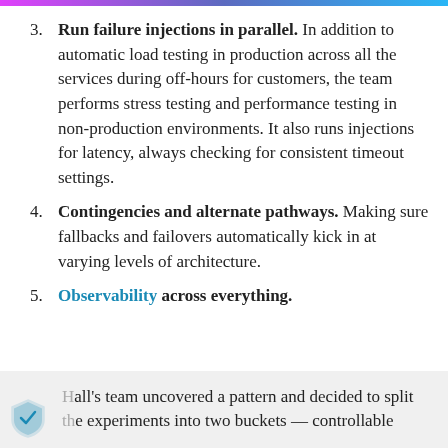3. Run failure injections in parallel. In addition to automatic load testing in production across all the services during off-hours for customers, the team performs stress testing and performance testing in non-production environments. It also runs injections for latency, always checking for consistent timeout settings.
4. Contingencies and alternate pathways. Making sure fallbacks and failovers automatically kick in at varying levels of architecture.
5. Observability across everything.
Hall's team uncovered a pattern and decided to split the experiments into two buckets — controllable